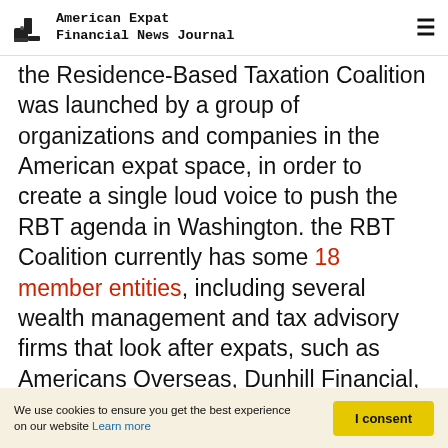American Expat Financial News Journal
the Residence-Based Taxation Coalition was launched by a group of organizations and companies in the American expat space, in order to create a single loud voice to push the RBT agenda in Washington. the RBT Coalition currently has some 18 member entities, including several wealth management and tax advisory firms that look after expats, such as Americans Overseas, Dunhill Financial, Bright!Tax, Adrian Leeds and White Lighthouse Investment Management.
We use cookies to ensure you get the best experience on our website Learn more